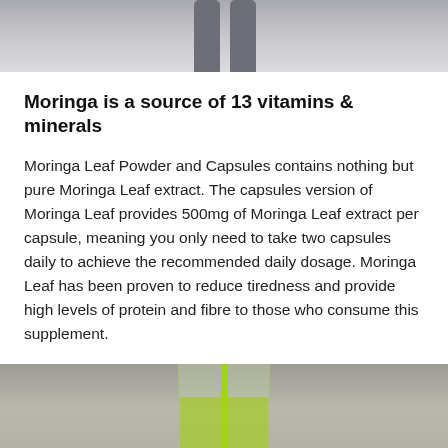[Figure (photo): Cropped photo of a person's lower body/legs wearing grey athletic pants, viewed from the front, on a light grey background.]
Moringa is a source of 13 vitamins & minerals
Moringa Leaf Powder and Capsules contains nothing but pure Moringa Leaf extract. The capsules version of Moringa Leaf provides 500mg of Moringa Leaf extract per capsule, meaning you only need to take two capsules daily to achieve the recommended daily dosage. Moringa Leaf has been proven to reduce tiredness and provide high levels of protein and fibre to those who consume this supplement.
[Figure (photo): Photo of a clear glass containing green liquid (moringa drink) with a green straw, placed on a wooden surface.]